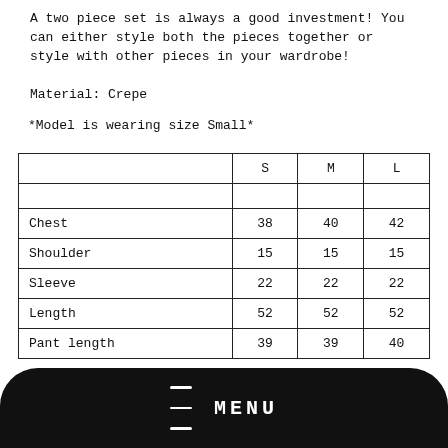A two piece set is always a good investment! You can either style both the pieces together or style with other pieces in your wardrobe!
Material: Crepe
*Model is wearing size Small*
|  | S | M | L |
| --- | --- | --- | --- |
|  |  |  |  |
| Chest | 38 | 40 | 42 |
| Shoulder | 15 | 15 | 15 |
| Sleeve | 22 | 22 | 22 |
| Length | 52 | 52 | 52 |
| Pant length | 39 | 39 | 40 |
MENU